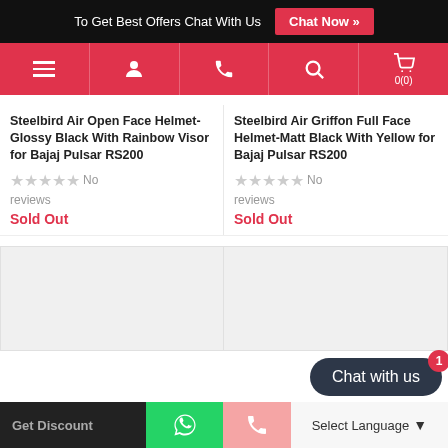To Get Best Offers Chat With Us  Chat Now »
[Figure (screenshot): Red navigation bar with icons: hamburger menu, user profile, phone, search, and cart (0)]
Steelbird Air Open Face Helmet-Glossy Black With Rainbow Visor for Bajaj Pulsar RS200
★★★★★ No reviews
Sold Out
Steelbird Air Griffon Full Face Helmet-Matt Black With Yellow for Bajaj Pulsar RS200
★★★★★ No reviews
Sold Out
[Figure (photo): Gray placeholder rectangle for product image (left)]
[Figure (photo): Gray placeholder rectangle for product image (right)]
[Figure (screenshot): Chat with us dark oval button with red badge showing 1]
Get Discount  [WhatsApp icon]  [Phone icon]  Select Language ▾